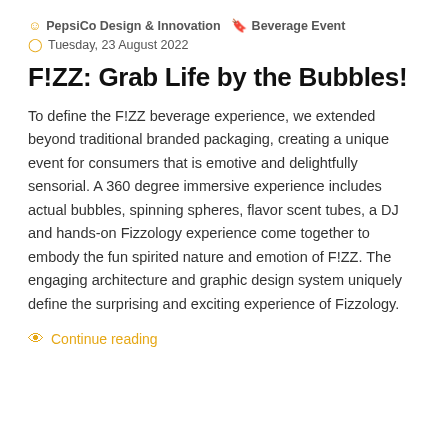PepsiCo Design & Innovation   Beverage Event   Tuesday, 23 August 2022
F!ZZ: Grab Life by the Bubbles!
To define the F!ZZ beverage experience, we extended beyond traditional branded packaging, creating a unique event for consumers that is emotive and delightfully sensorial. A 360 degree immersive experience includes actual bubbles, spinning spheres, flavor scent tubes, a DJ and hands-on Fizzology experience come together to embody the fun spirited nature and emotion of F!ZZ. The engaging architecture and graphic design system uniquely define the surprising and exciting experience of Fizzology.
Continue reading